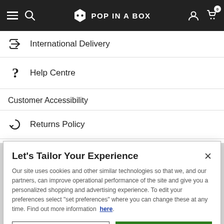POP IN A BOX — navigation header with hamburger, search, logo, user icon, cart (0)
International Delivery
Help Centre
Customer Accessibility
Returns Policy
Let's Tailor Your Experience
Our site uses cookies and other similar technologies so that we, and our partners, can improve operational performance of the site and give you a personalized shopping and advertising experience. To edit your preferences select "set preferences" where you can change these at any time. Find out more information here.
Set Preference | That's Ok